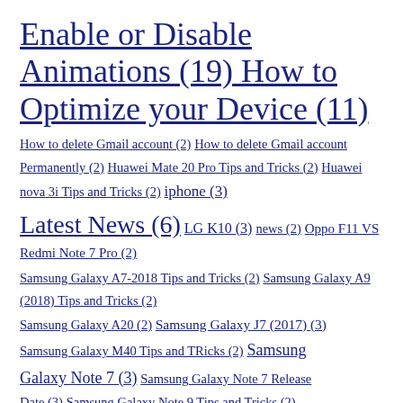Enable or Disable Animations (19) How to Optimize your Device (11) How to delete Gmail account (2) How to delete Gmail account Permanently (2) Huawei Mate 20 Pro Tips and Tricks (2) Huawei nova 3i Tips and Tricks (2) iphone (3) Latest News (6) LG K10 (3) news (2) Oppo F11 VS Redmi Note 7 Pro (2) Samsung Galaxy A7-2018 Tips and Tricks (2) Samsung Galaxy A9 (2018) Tips and Tricks (2) Samsung Galaxy A20 (2) Samsung Galaxy J7 (2017) (3) Samsung Galaxy M40 Tips and TRicks (2) Samsung Galaxy Note 7 (3) Samsung Galaxy Note 7 Release Date (3) Samsung Galaxy Note 9 Tips and Tricks (2) Samsung Galaxy S8 release date (3) Samsung Galaxy